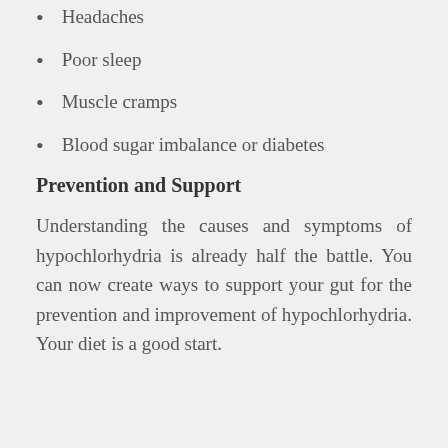Headaches
Poor sleep
Muscle cramps
Blood sugar imbalance or diabetes
Prevention and Support
Understanding the causes and symptoms of hypochlorhydria is already half the battle. You can now create ways to support your gut for the prevention and improvement of hypochlorhydria. Your diet is a good start.